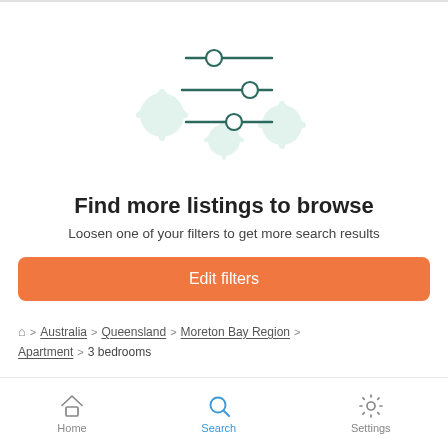[Figure (illustration): Filter/settings sliders icon with green decorative snowflake/gear shapes in background. Three horizontal sliders with circular handles shown in teal/dark green outline.]
Find more listings to browse
Loosen one of your filters to get more search results
Edit filters
Home > Australia > Queensland > Moreton Bay Region > Apartment > 3 bedrooms
Home  Search  Settings